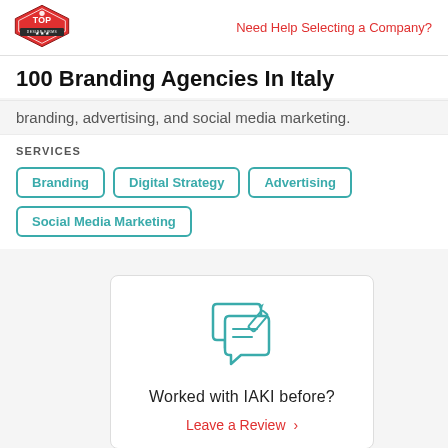Need Help Selecting a Company?
100 Branding Agencies In Italy
branding, advertising, and social media marketing.
SERVICES
Branding
Digital Strategy
Advertising
Social Media Marketing
[Figure (illustration): Chat bubble with pencil/review icon in teal outline style]
Worked with IAKI before?
Leave a Review >